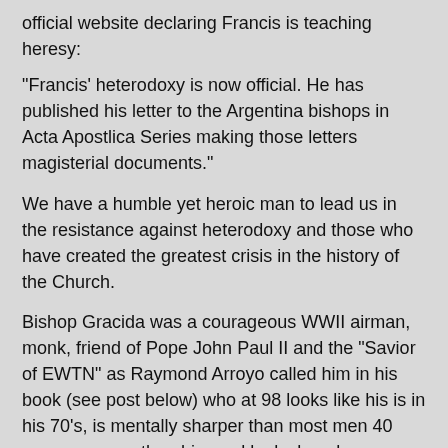official website declaring Francis is teaching heresy:
"Francis' heterodoxy is now official. He has published his letter to the Argentina bishops in Acta Apostlica Series making those letters magisterial documents."
We have a humble yet heroic man to lead us in the resistance against heterodoxy and those who have created the greatest crisis in the history of the Church.
Bishop Gracida was a courageous WWII airman, monk, friend of Pope John Paul II and the "Savior of EWTN" as Raymond Arroyo called him in his book (see post below) who at 98 looks like his is in his 70's, is mentally sharper than most men 40 years younger than him and looks by a large margin younger than Pope Benedict XVI or Francis.
[https://www.catholicworldreport.com/2016/01/11/airman-monk-priest-bishop-an-interview-with-bp-rene-henry-gracida/]